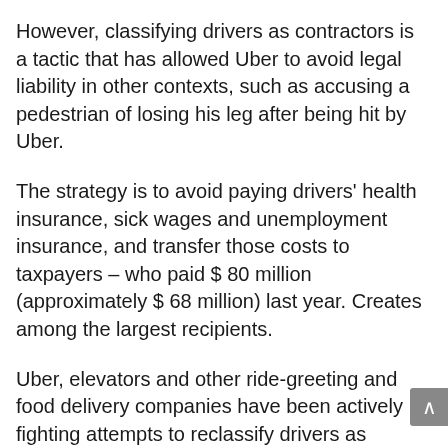However, classifying drivers as contractors is a tactic that has allowed Uber to avoid legal liability in other contexts, such as accusing a pedestrian of losing his leg after being hit by Uber.
The strategy is to avoid paying drivers' health insurance, sick wages and unemployment insurance, and transfer those costs to taxpayers – who paid $ 80 million (approximately $ 68 million) last year. Creates among the largest recipients.
Uber, elevators and other ride-greeting and food delivery companies have been actively fighting attempts to reclassify drivers as employees in many states and countries, which would add significant additional costs to already unprofitable business models. Earlier this week, the share price of UK-based food delivery company Delivery fell 30%, after inves...